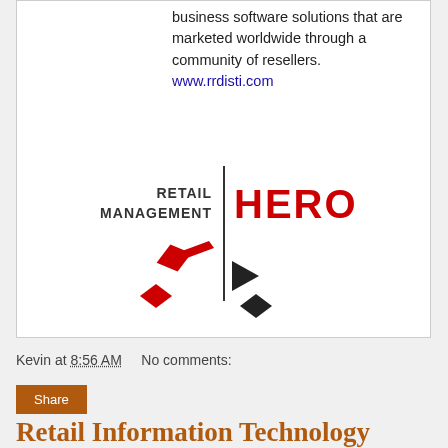business software solutions that are marketed worldwide through a community of resellers. www.rrdisti.com
[Figure (logo): Retail Management HERO logo with geometric diamond and arrow shapes in red and black]
Kevin at 8:56 AM    No comments:
Share
Retail Information Technology